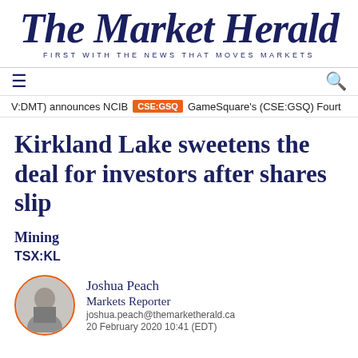The Market Herald
FIRST WITH THE NEWS THAT MOVES MARKETS
V:DMT) announces NCIB  CSE:GSQ  GameSquare's (CSE:GSQ) Fourt
Kirkland Lake sweetens the deal for investors after shares slip
Mining
TSX:KL
Joshua Peach
Markets Reporter
joshua.peach@themarketherald.ca
20 February 2020 10:41 (EDT)